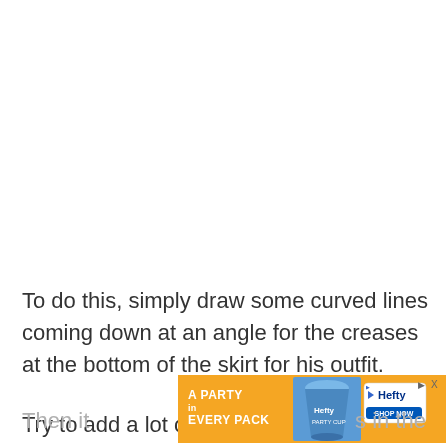To do this, simply draw some curved lines coming down at an angle for the creases at the bottom of the skirt for his outfit.

Try to add a lot of these curved lines, and also try to angle them so that it looks like the wind is blowing it.
[Figure (other): Advertisement banner for Hefty cups: orange background with text 'A PARTY in EVERY PACK', product image of Hefty cups, and Hefty logo with 'SHOP NOW' button. Has a close (X) button in the top right.]
Then it … s in the